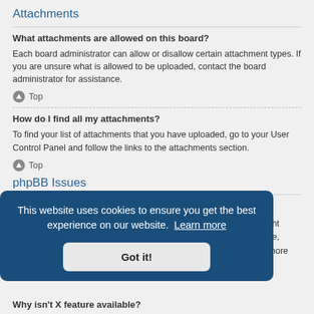Attachments
What attachments are allowed on this board?
Each board administrator can allow or disallow certain attachment types. If you are unsure what is allowed to be uploaded, contact the board administrator for assistance.
Top
How do I find all my attachments?
To find your list of attachments that you have uploaded, go to your User Control Panel and follow the links to the attachments section.
Top
phpBB Issues
This website uses cookies to ensure you get the best experience on our website.  Learn more
Got it!
Why isn't X feature available?